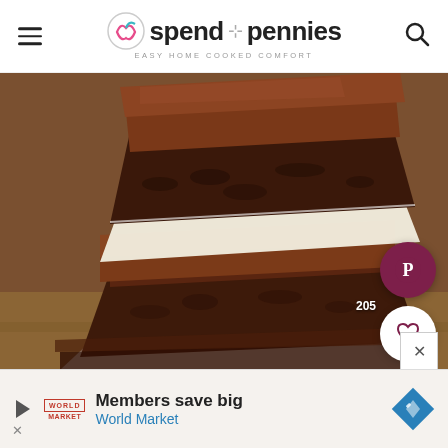spend with pennies — Easy Home Cooked Comfort
[Figure (photo): Two stacked chocolate brownies with thick chocolate frosting on top, placed on white parchment paper, with a blurred wooden background. Social share buttons (Pinterest and heart/save) visible on the right side.]
205
Members save big
World Market